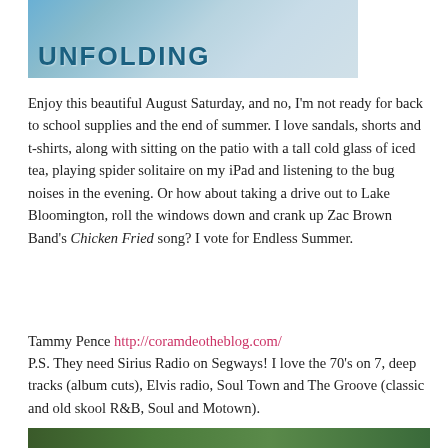[Figure (photo): Top portion of a book or blog cover image with the word UNFOLDING in bold teal/blue text over a blue-toned background with a figure]
Enjoy this beautiful August Saturday, and no, I'm not ready for back to school supplies and the end of summer. I love sandals, shorts and t-shirts, along with sitting on the patio with a tall cold glass of iced tea, playing spider solitaire on my iPad and listening to the bug noises in the evening. Or how about taking a drive out to Lake Bloomington, roll the windows down and crank up Zac Brown Band's Chicken Fried song? I vote for Endless Summer.
Tammy Pence http://coramdeotheblog.com/
P.S. They need Sirius Radio on Segways! I love the 70's on 7, deep tracks (album cuts), Elvis radio, Soul Town and The Groove (classic and old skool R&B, Soul and Motown).
[Figure (photo): Bottom edge of an outdoor/nature photograph, partially visible]